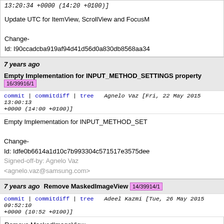13:20:34 +0000 (14:20 +0100)]
Update UTC for ItemView, ScrollView and FocusM
Change-Id: I90ccadcba919af94d41d56d0a830db8568aa34
7 years ago  Empty Implementation for INPUT_METHOD_SETTINGS property  16/39916/1
commit | commitdiff | tree  Agnelo Vaz [Fri, 22 May 2015 13:00:13 +0000 (14:00 +0100)]
Empty Implementation for INPUT_METHOD_SET
Change-Id: Idfe0b6614a1d10c7b993304c571517e3575dee
Signed-off-by: Agnelo Vaz <agnelo.vaz@samsung.com>
7 years ago  Remove MaskedImageView  14/39914/1
commit | commitdiff | tree  Adeel Kazmi [Tue, 26 May 2015 09:52:10 +0000 (10:52 +0100)]
Remove MaskedImageView
Change-Id: I1a4dcec6a89c2a57126d2568bb55ac6cb07bc0